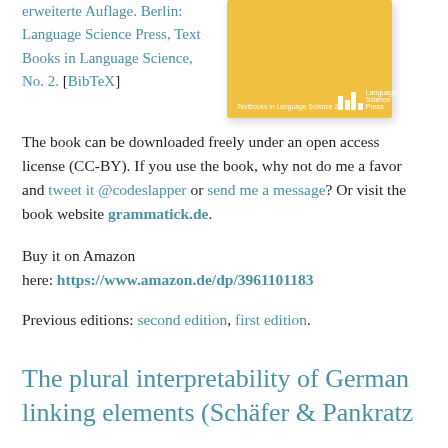erweiterte Auflage. Berlin: Language Science Press, Text Books in Language Science, No. 2. [BibTeX]
[Figure (illustration): Yellow book cover thumbnail for Language Science Press Textbooks in Language Science 2, with white logo bars and LSP branding at bottom]
The book can be downloaded freely under an open access license (CC-BY). If you use the book, why not do me a favor and tweet it @codeslapper or send me a message? Or visit the book website grammatick.de.
Buy it on Amazon here: https://www.amazon.de/dp/3961101183
Previous editions: second edition, first edition.
The plural interpretability of German linking elements (Schäfer & Pankratz